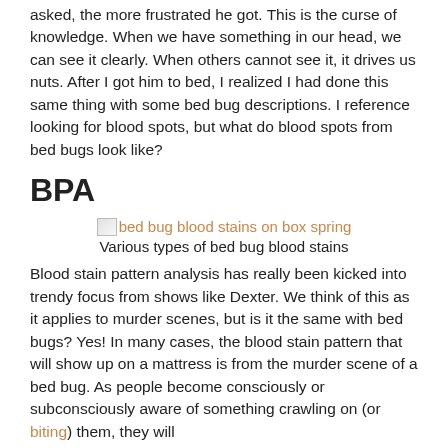asked, the more frustrated he got. This is the curse of knowledge. When we have something in our head, we can see it clearly. When others cannot see it, it drives us nuts. After I got him to bed, I realized I had done this same thing with some bed bug descriptions. I reference looking for blood spots, but what do blood spots from bed bugs look like?
BPA
[Figure (photo): Broken image placeholder with link text 'bed bug blood stains on box spring' in orange]
Various types of bed bug blood stains
Blood stain pattern analysis has really been kicked into trendy focus from shows like Dexter. We think of this as it applies to murder scenes, but is it the same with bed bugs? Yes! In many cases, the blood stain pattern that will show up on a mattress is from the murder scene of a bed bug. As people become consciously or subconsciously aware of something crawling on (or biting) them, they will